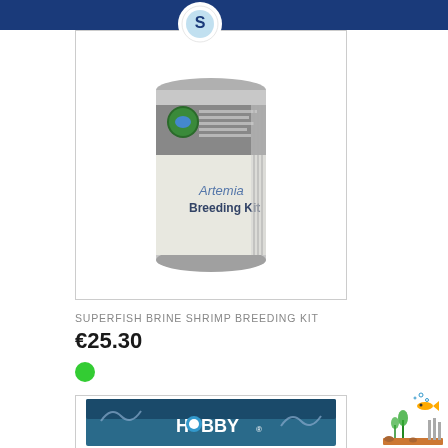[Figure (photo): Superfish Artemia Breeding Kit product canister with green and grey label]
SUPERFISH BRINE SHRIMP BREEDING KIT
€25.30
[Figure (photo): Green circle stock availability indicator]
[Figure (photo): Hobby branded product box partially visible at bottom]